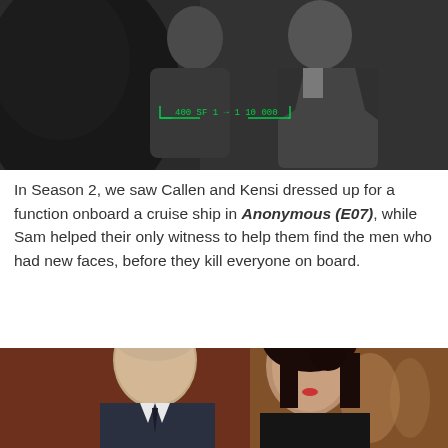[Figure (photo): Black and white photo of two people (Callen and Kensi) dressed up, with green surveillance HUD overlay lines and text at bottom center of image]
In Season 2, we saw Callen and Kensi dressed up for a function onboard a cruise ship in Anonymous (E07), while Sam helped their only witness to help them find the men who had new faces, before they kill everyone on board.
[Figure (photo): Color photo of a man (Callen) in a suit looking at a woman (Kensi) with dark hair at what appears to be a formal event with warm reddish lighting in background]